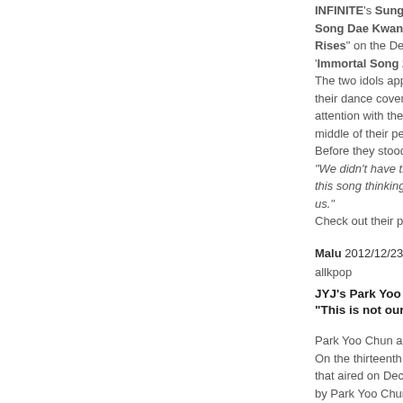INFINITE's Sunggyu and W... Song Dae Kwan's hit song... Rises" on the December 22... 'Immortal Song 2'. The two idols appeared in b... their dance cover of the tro... attention with their handker... middle of their performance... Before they stood on stage... "We didn't have the easiest... this song thinking about wh... us." Check out their performanc...
Malu 2012/12/23 06:00:30
allkpop
JYJ's Park Yoo Chun kiss... "This is not our first time.
Park Yoo Chun and Yoon E... On the thirteenth episode o... that aired on December 20,... by Park Yoo Chun) and Lee... Yoon Eun Hye) kissed each... In this broadcast, Soo Yeon...